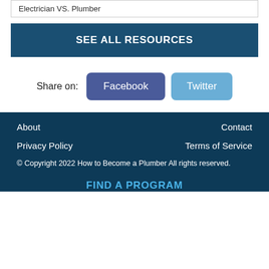Electrician VS. Plumber
SEE ALL RESOURCES
Share on: Facebook Twitter
About  Contact  Privacy Policy  Terms of Service  © Copyright 2022 How to Become a Plumber All rights reserved.  FIND A PROGRAM